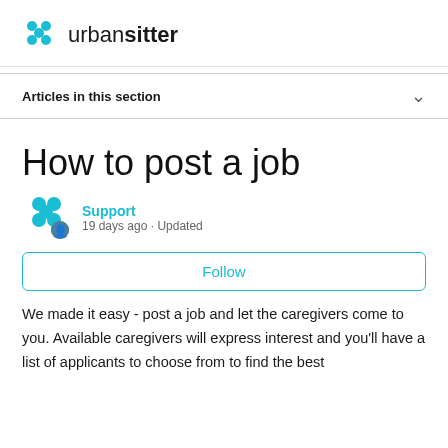urban sitter
Articles in this section
How to post a job
Support
19 days ago · Updated
Follow
We made it easy - post a job and let the caregivers come to you. Available caregivers will express interest and you'll have a list of applicants to choose from to find the best